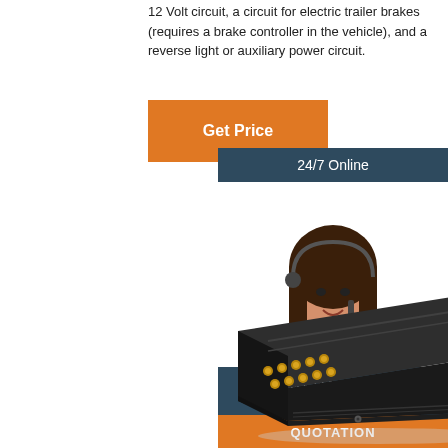12 Volt circuit, a circuit for electric trailer brakes (requires a brake controller in the vehicle), and a reverse light or auxiliary power circuit.
[Figure (other): Orange 'Get Price' button]
[Figure (photo): Sidebar showing '24/7 Online' header, a customer service representative wearing a headset, 'Click here for free chat!' text, and an orange 'QUOTATION' button]
[Figure (photo): Black multi-pin trailer connector plug with gold/brass pins, shot at an angle on white background]